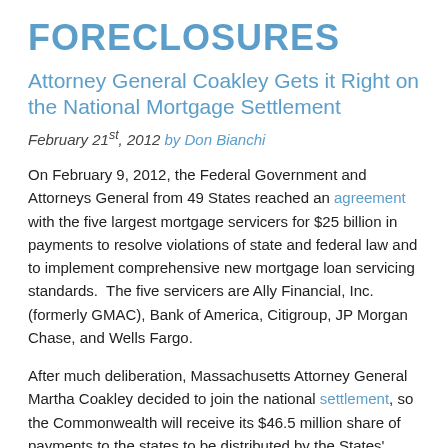FORECLOSURES
Attorney General Coakley Gets it Right on the National Mortgage Settlement
February 21st, 2012 by Don Bianchi
On February 9, 2012, the Federal Government and Attorneys General from 49 States reached an agreement with the five largest mortgage servicers for $25 billion in payments to resolve violations of state and federal law and to implement comprehensive new mortgage loan servicing standards.  The five servicers are Ally Financial, Inc. (formerly GMAC), Bank of America, Citigroup, JP Morgan Chase, and Wells Fargo.
After much deliberation, Massachusetts Attorney General Martha Coakley decided to join the national settlement, so the Commonwealth will receive its $46.5 million share of payments to the states to be distributed by the States'